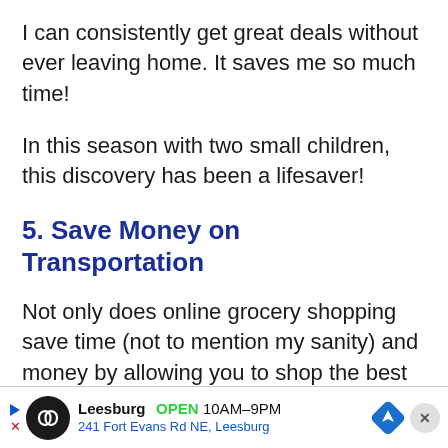I can consistently get great deals without ever leaving home. It saves me so much time!
In this season with two small children, this discovery has been a lifesaver!
5. Save Money on Transportation
Not only does online grocery shopping save time (not to mention my sanity) and money by allowing you to shop the best deals right from home, it also sav[es on transportation costs]
[Figure (other): Advertisement banner for Leesburg store: circular black logo with infinity symbol, text 'Leesburg OPEN 10AM-9PM 241 Fort Evans Rd NE, Leesburg', blue diamond navigation icon, close button]